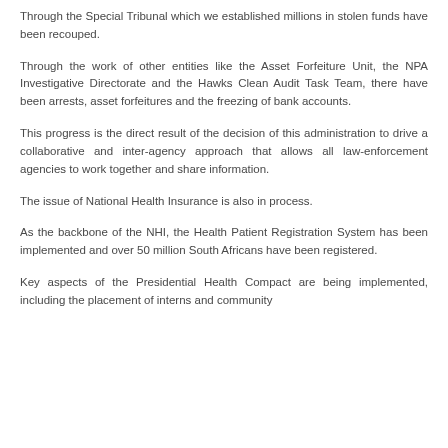Through the Special Tribunal which we established millions in stolen funds have been recouped.
Through the work of other entities like the Asset Forfeiture Unit, the NPA Investigative Directorate and the Hawks Clean Audit Task Team, there have been arrests, asset forfeitures and the freezing of bank accounts.
This progress is the direct result of the decision of this administration to drive a collaborative and inter-agency approach that allows all law-enforcement agencies to work together and share information.
The issue of National Health Insurance is also in process.
As the backbone of the NHI, the Health Patient Registration System has been implemented and over 50 million South Africans have been registered.
Key aspects of the Presidential Health Compact are being implemented, including the placement of interns and community